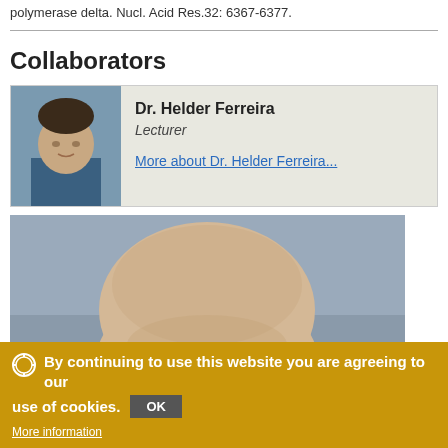polymerase delta. Nucl. Acid Res.32: 6367-6377.
Collaborators
[Figure (photo): Profile photo of Dr. Helder Ferreira, small thumbnail showing a man outdoors]
Dr. Helder Ferreira
Lecturer
More about Dr. Helder Ferreira...
[Figure (photo): Large photo of a bald man's head from above, set against a gray-blue background]
By continuing to use this website you are agreeing to our use of cookies. OK
More information